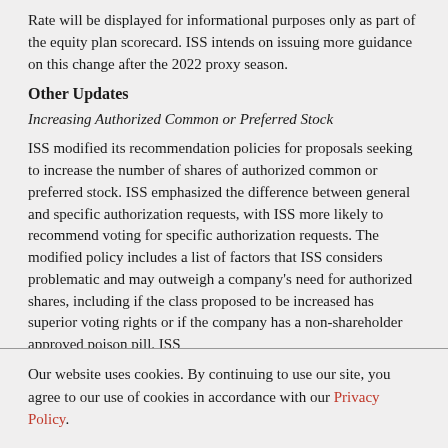Rate will be displayed for informational purposes only as part of the equity plan scorecard. ISS intends on issuing more guidance on this change after the 2022 proxy season.
Other Updates
Increasing Authorized Common or Preferred Stock
ISS modified its recommendation policies for proposals seeking to increase the number of shares of authorized common or preferred stock. ISS emphasized the difference between general and specific authorization requests, with ISS more likely to recommend voting for specific authorization requests. The modified policy includes a list of factors that ISS considers problematic and may outweigh a company's need for authorized shares, including if the class proposed to be increased has superior voting rights or if the company has a non-shareholder approved poison pill. ISS
Our website uses cookies. By continuing to use our site, you agree to our use of cookies in accordance with our Privacy Policy.